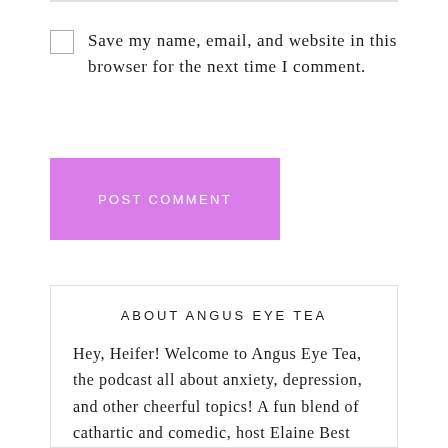Save my name, email, and website in this browser for the next time I comment.
POST COMMENT
ABOUT ANGUS EYE TEA
Hey, Heifer! Welcome to Angus Eye Tea, the podcast all about anxiety, depression, and other cheerful topics! A fun blend of cathartic and comedic, host Elaine Best regales her unique experiences with mental health in her day-to-day life.